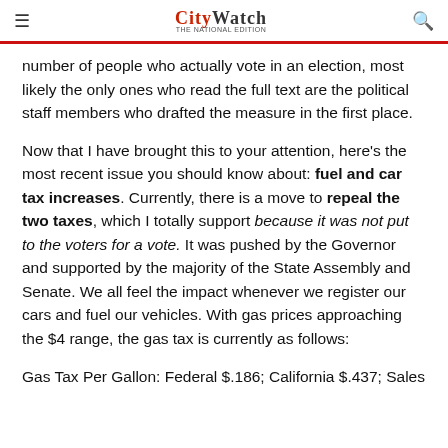CityWatch
number of people who actually vote in an election, most likely the only ones who read the full text are the political staff members who drafted the measure in the first place.
Now that I have brought this to your attention, here's the most recent issue you should know about: fuel and car tax increases. Currently, there is a move to repeal the two taxes, which I totally support because it was not put to the voters for a vote. It was pushed by the Governor and supported by the majority of the State Assembly and Senate. We all feel the impact whenever we register our cars and fuel our vehicles. With gas prices approaching the $4 range, the gas tax is currently as follows:
Gas Tax Per Gallon: Federal $.186; California $.437; Sales